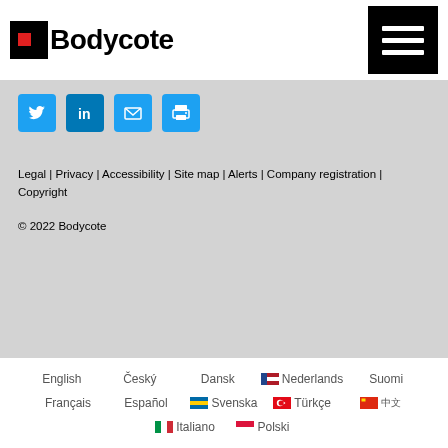[Figure (logo): Bodycote logo with red square icon and bold black text 'Bodycote']
[Figure (other): Hamburger menu button (black square with three white horizontal lines)]
[Figure (other): Social sharing icons row: Twitter, LinkedIn, Email, Print — all blue rounded squares]
Legal | Privacy | Accessibility | Site map | Alerts | Company registration | Copyright
© 2022 Bodycote
English  Český  Dansk  🇳🇱 Nederlands  Suomi  Français  Español  🇸🇪 Svenska  🇹🇷 Türkçe  🇨🇳 中文  🇮🇹 Italiano  🇵🇱 Polski